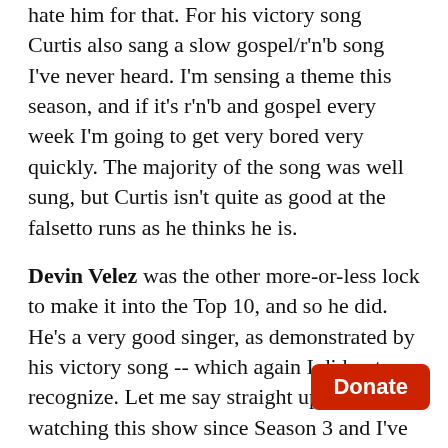hate him for that. For his victory song Curtis also sang a slow gospel/r'n'b song I've never heard. I'm sensing a theme this season, and if it's r'n'b and gospel every week I'm going to get very bored very quickly. The majority of the song was well sung, but Curtis isn't quite as good at the falsetto runs as he thinks he is.
Devin Velez was the other more-or-less lock to make it into the Top 10, and so he did. He's a very good singer, as demonstrated by his victory song -- which again I did not recognize. Let me say straight up: I've been watching this show since Season 3 and I've never seen so many songs come up here that I had never heard before. And I consider myself a fairly well-versed pop-culture guy. Anyway, I liked the song, I liked Devin's vocal -- it was upbeat and exciting! And huge thanks to him for not switching into Spanish. It's fine every now and again, but every time feels a bit desperate. And yet [Donate] d him to do exactly that, and stick to just h...